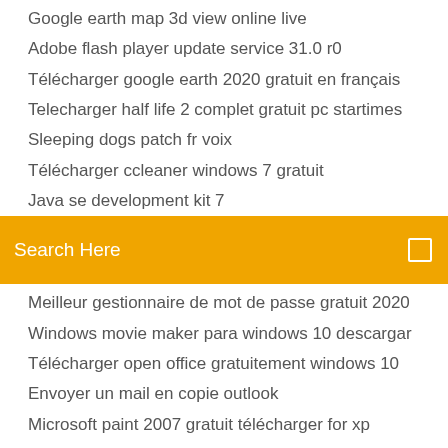Google earth map 3d view online live
Adobe flash player update service 31.0 r0
Télécharger google earth 2020 gratuit en français
Telecharger half life 2 complet gratuit pc startimes
Sleeping dogs patch fr voix
Télécharger ccleaner windows 7 gratuit
Java se development kit 7
[Figure (screenshot): Orange search bar with text 'Search Here' and a small square icon on the right]
Meilleur gestionnaire de mot de passe gratuit 2020
Windows movie maker para windows 10 descargar
Télécharger open office gratuitement windows 10
Envoyer un mail en copie outlook
Microsoft paint 2007 gratuit télécharger for xp
Envoi de fichiers lourds free
Télécharger game naruto shippuden ultimate ninja storm 3 psp
Telechargement gratuit office 2007 avec clé
Call of duty black ops 3 apk ps4